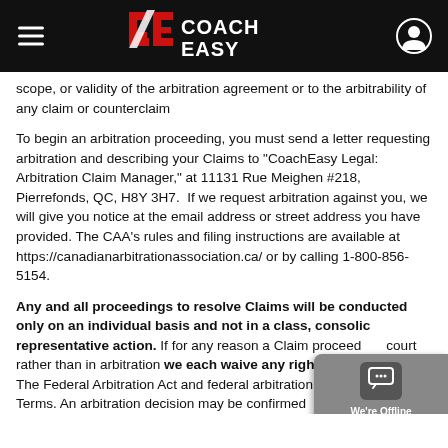Coach Easy
scope, or validity of the arbitration agreement or to the arbitrability of any claim or counterclaim
To begin an arbitration proceeding, you must send a letter requesting arbitration and describing your Claims to "CoachEasy Legal: Arbitration Claim Manager," at 11131 Rue Meighen #218, Pierrefonds, QC, H8Y 3H7.  If we request arbitration against you, we will give you notice at the email address or street address you have provided. The CAA's rules and filing instructions are available at https://canadianarbitrationassociation.ca/ or by calling 1-800-856-5154.
Any and all proceedings to resolve Claims will be conducted only on an individual basis and not in a class, consolidated, or representative action. If for any reason a Claim proceeds in court rather than in arbitration we each waive any right to a jury trial. The Federal Arbitration Act and federal arbitration law apply to these Terms. An arbitration decision may be confirmed